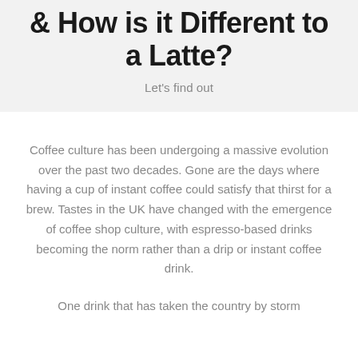& How is it Different to a Latte?
Let's find out
Coffee culture has been undergoing a massive evolution over the past two decades. Gone are the days where having a cup of instant coffee could satisfy that thirst for a brew. Tastes in the UK have changed with the emergence of coffee shop culture, with espresso-based drinks becoming the norm rather than a drip or instant coffee drink.
One drink that has taken the country by storm